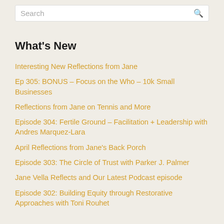Search
What's New
Interesting New Reflections from Jane
Ep 305: BONUS – Focus on the Who – 10k Small Businesses
Reflections from Jane on Tennis and More
Episode 304: Fertile Ground – Facilitation + Leadership with Andres Marquez-Lara
April Reflections from Jane's Back Porch
Episode 303: The Circle of Trust with Parker J. Palmer
Jane Vella Reflects and Our Latest Podcast episode
Episode 302: Building Equity through Restorative Approaches with Toni Rouhet